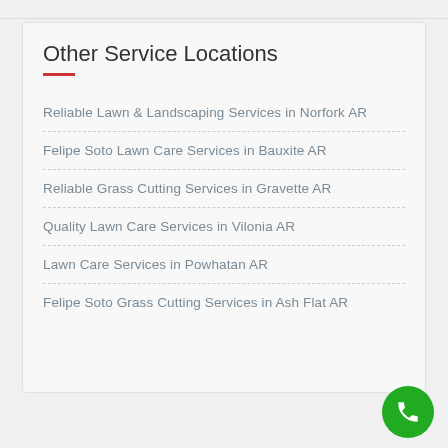Other Service Locations
Reliable Lawn & Landscaping Services in Norfork AR
Felipe Soto Lawn Care Services in Bauxite AR
Reliable Grass Cutting Services in Gravette AR
Quality Lawn Care Services in Vilonia AR
Lawn Care Services in Powhatan AR
Felipe Soto Grass Cutting Services in Ash Flat AR
[Figure (illustration): Green circular phone call button with white telephone handset icon in bottom-right corner]